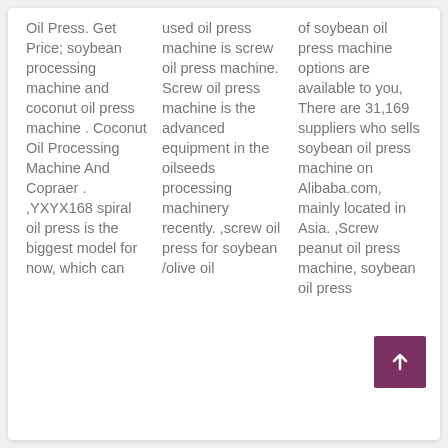Oil Press. Get Price; soybean processing machine and coconut oil press machine . Coconut Oil Processing Machine And Copraer . ,YXYX168 spiral oil press is the biggest model for now, which can
used oil press machine is screw oil press machine. Screw oil press machine is the advanced equipment in the oilseeds processing machinery recently. ,screw oil press for soybean /olive oil
of soybean oil press machine options are available to you, There are 31,169 suppliers who sells soybean oil press machine on Alibaba.com, mainly located in Asia. ,Screw peanut oil press machine, soybean oil press